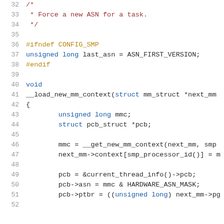32  /*
33   * Force a new ASN for a task.
34   */
35
36  #ifndef CONFIG_SMP
37  unsigned long last_asn = ASN_FIRST_VERSION;
38  #endif
39
40  void
41  __load_new_mm_context(struct mm_struct *next_mm
42  {
43      unsigned long mmc;
44      struct pcb_struct *pcb;
45
46      mmc = __get_new_mm_context(next_mm, smp.
47      next_mm->context[smp_processor_id()] = m
48
49      pcb = &current_thread_info()->pcb;
50      pcb->asn = mmc & HARDWARE_ASN_MASK;
51      pcb->ptbr = ((unsigned long) next_mm->pg
52